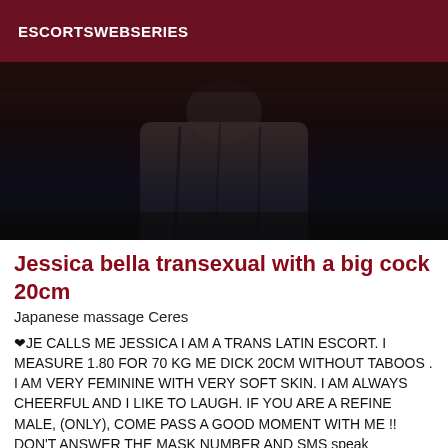ESCORTSWEBSERIES
[Figure (photo): Dark photo showing a figure wearing dark clothing, cropped view]
Jessica bella transexual with a big cock 20cm
Japanese massage Ceres
❤JE CALLS ME JESSICA I AM A TRANS LATIN ESCORT. I MEASURE 1.80 FOR 70 KG ME DICK 20CM WITHOUT TABOOS . I AM VERY FEMININE WITH VERY SOFT SKIN. I AM ALWAYS CHEERFUL AND I LIKE TO LAUGH. IF YOU ARE A REFINE MALE, (ONLY), COME PASS A GOOD MOMENT WITH ME !! DON'T ANSWER THE MASK NUMBER AND SMS speak English/español ❤ I SPEAK INGLES OR